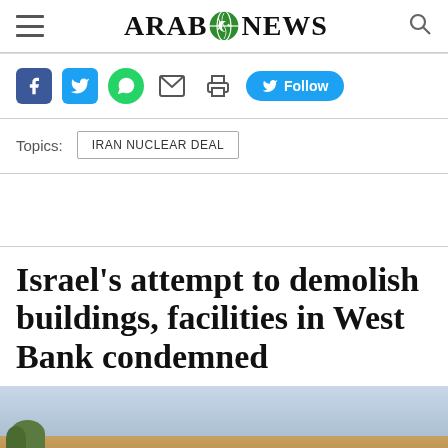ARAB NEWS
[Figure (infographic): Social media share icons: Facebook, Twitter, WhatsApp, Email, Print, and a Twitter Follow button]
Topics: IRAN NUCLEAR DEAL
Israel's attempt to demolish buildings, facilities in West Bank condemned
[Figure (photo): Outdoor landscape photo showing sky and terrain, partially visible at bottom of page]